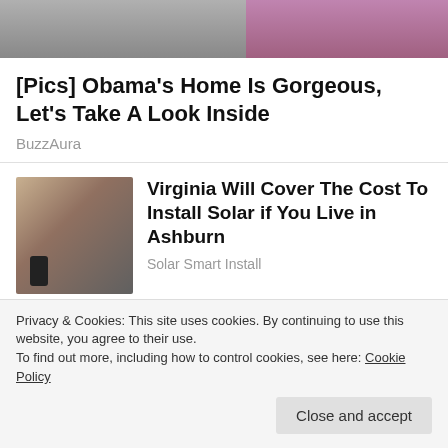[Figure (photo): Partial cropped photo strip at top of page showing two people]
[Pics] Obama's Home Is Gorgeous, Let's Take A Look Inside
BuzzAura
[Figure (photo): Woman with glasses speaking at a microphone podium]
Virginia Will Cover The Cost To Install Solar if You Live in Ashburn
Solar Smart Install
[Figure (photo): Two men, one kissing the other on the cheek, in formal attire]
[Photos] At 67, John Travolta Is Living In This House With His Partner.
Privacy & Cookies: This site uses cookies. By continuing to use this website, you agree to their use.
To find out more, including how to control cookies, see here: Cookie Policy
Close and accept